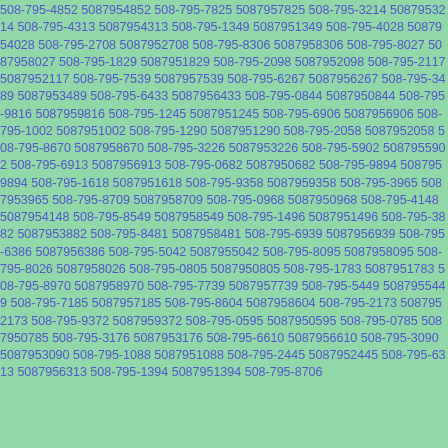508-795-4852 5087954852 508-795-7825 5087957825 508-795-3214 5087953214 508-795-4313 5087954313 508-795-1349 5087951349 508-795-4028 5087954028 508-795-2708 5087952708 508-795-8306 5087958306 508-795-8027 5087958027 508-795-1829 5087951829 508-795-2098 5087952098 508-795-2117 5087952117 508-795-7539 5087957539 508-795-6267 5087956267 508-795-3489 5087953489 508-795-6433 5087956433 508-795-0844 5087950844 508-795-9816 5087959816 508-795-1245 5087951245 508-795-6906 5087956906 508-795-1002 5087951002 508-795-1290 5087951290 508-795-2058 5087952058 508-795-8670 5087958670 508-795-3226 5087953226 508-795-5902 5087955902 508-795-6913 5087956913 508-795-0682 5087950682 508-795-9894 5087959894 508-795-1618 5087951618 508-795-9358 5087959358 508-795-3965 5087953965 508-795-8709 5087958709 508-795-0968 5087950968 508-795-4148 5087954148 508-795-8549 5087958549 508-795-1496 5087951496 508-795-3882 5087953882 508-795-8481 5087958481 508-795-6939 5087956939 508-795-6386 5087956386 508-795-5042 5087955042 508-795-8095 5087958095 508-795-8026 5087958026 508-795-0805 5087950805 508-795-1783 5087951783 508-795-8970 5087958970 508-795-7739 5087957739 508-795-5449 5087955449 508-795-7185 5087957185 508-795-8604 5087958604 508-795-2173 5087952173 508-795-9372 5087959372 508-795-0595 5087950595 508-795-0785 5087950785 508-795-3176 5087953176 508-795-6610 5087956610 508-795-3090 5087953090 508-795-1088 5087951088 508-795-2445 5087952445 508-795-6313 5087956313 508-795-1394 5087951394 508-795-8706